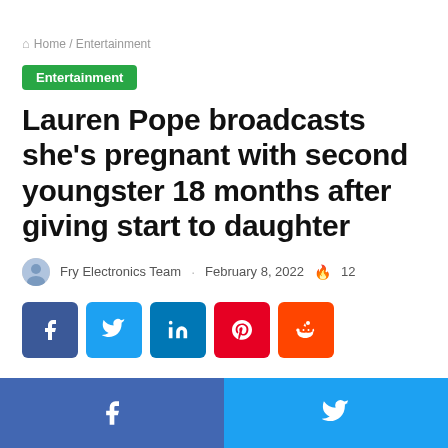Home / Entertainment
Entertainment
Lauren Pope broadcasts she’s pregnant with second youngster 18 months after giving start to daughter
Fry Electronics Team · February 8, 2022 🔥 12
[Figure (other): Social share buttons: Facebook, Twitter, LinkedIn, Pinterest, Reddit]
Facebook share | Twitter share